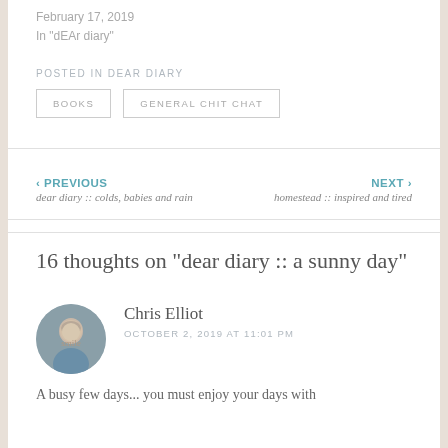February 17, 2019
In "dEAr diary"
POSTED IN DEAR DIARY
BOOKS
GENERAL CHIT CHAT
‹ PREVIOUS
dear diary :: colds, babies and rain
NEXT ›
homestead :: inspired and tired
16 thoughts on "dear diary :: a sunny day"
Chris Elliot
OCTOBER 2, 2019 AT 11:01 PM
A busy few days... you must enjoy your days with